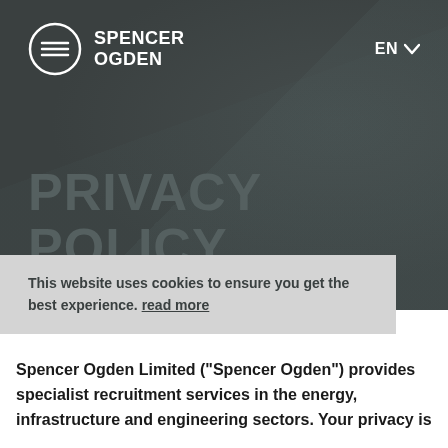SPENCER OGDEN  EN
PRIVACY POLICY
This website uses cookies to ensure you get the best experience. read more
Spencer Ogden Limited (“Spencer Ogden”) provides specialist recruitment services in the energy, infrastructure and engineering sectors. Your privacy is